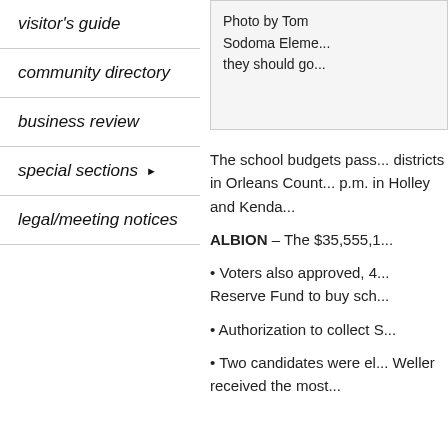visitor's guide
community directory
business review
special sections ▶
legal/meeting notices
[Figure (photo): Photo by Tom Sodoma Eleme... they should go...]
The school budgets pass... districts in Orleans Count... p.m. in Holley and Kenda...
ALBION – The $35,555,1...
• Voters also approved, 4... Reserve Fund to buy sch...
• Authorization to collect S...
• Two candidates were el... Weller received the most...